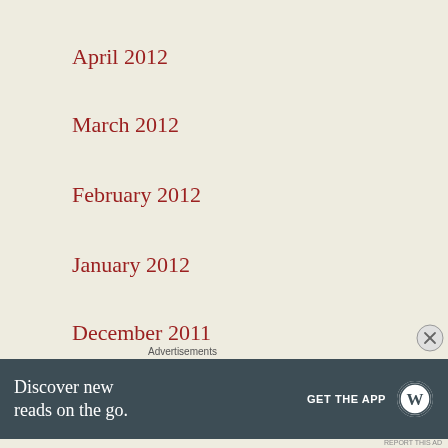April 2012
March 2012
February 2012
January 2012
December 2011
March 2009
February 2009
Advertisements
[Figure (infographic): WordPress app advertisement banner: 'Discover new reads on the go. GET THE APP' with WordPress logo]